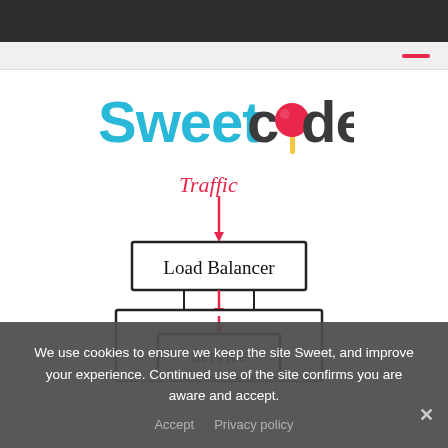[Figure (logo): SweetCode logo with cyan 'Sweet' text and dark 'code' text, featuring a red lollipop replacing the 'o' in 'code']
[Figure (schematic): Network diagram showing Traffic arrow pointing down to Load Balancer box, which connects via lines to a Service box inside a larger rectangle. Red arrows indicate traffic flow direction.]
We use cookies to ensure we keep the site Sweet, and improve your experience. Continued use of the site confirms you are aware and accept.
Accept   Privacy policy